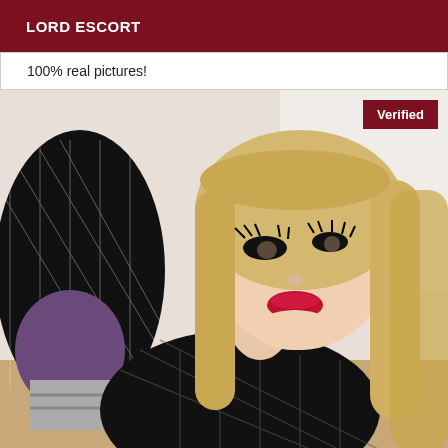LORD ESCORT
100% real pictures!
[Figure (photo): A person with long blonde hair wearing a black fishnet-style outfit, taking a selfie. A 'Verified' badge appears in the top-right corner of the image.]